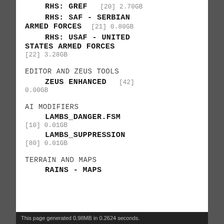RHS: GREF [20] 2.70GB
RHS: SAF - SERBIAN ARMED FORCES [21] 0.80GB
RHS: USAF - UNITED STATES ARMED FORCES [22] 3.28GB
EDITOR AND ZEUS TOOLS
ZEUS ENHANCED [42] 0.00GB
AI MODIFIERS
LAMBS_DANGER.FSM [10] 0.01GB
LAMBS_SUPPRESSION [80] 0.01GB
TERRAIN AND MAPS
RAINS - MAPS
This page generated 0.98MB in 0.2624 seconds.